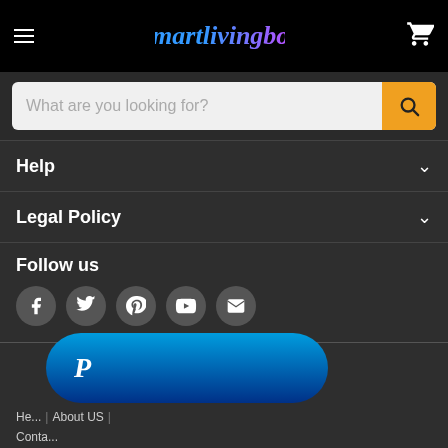Smartlivingbox — header navigation with hamburger menu, logo, cart icon
What are you looking for?
Help
Legal Policy
Follow us
[Figure (infographic): Social media icons: Facebook, Twitter, Pinterest, YouTube, Email in circular grey buttons]
[Figure (logo): PayPal button — rounded rectangle with blue gradient and white P logo]
He... | About US | Conta... | Value Sheet Music | Terms of Service | Refund policy | Catch Defario